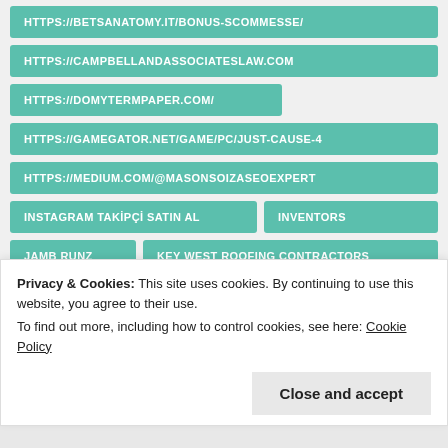HTTPS://BETSANATOMY.IT/BONUS-SCOMMESSE/
HTTPS://CAMPBELLANDASSOCIATESLAW.COM
HTTPS://DOMYTERMPAPER.COM/
HTTPS://GAMEGATOR.NET/GAME/PC/JUST-CAUSE-4
HTTPS://MEDIUM.COM/@MASONSOIZASEOEXPERT
INSTAGRAM TAKİPÇİ SATIN AL
INVENTORS
JAMB RUNZ
KEY WEST ROOFING CONTRACTORS
LASER MARKING MACHINE
LED OUTDOOR LIGHT
LUCKY PATCHER APK
MAIN BOLA TANGKAS
Privacy & Cookies: This site uses cookies. By continuing to use this website, you agree to their use.
To find out more, including how to control cookies, see here: Cookie Policy
Close and accept